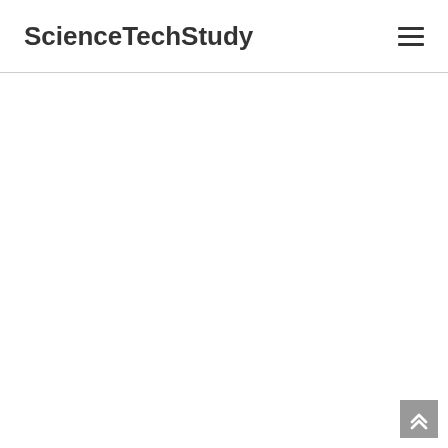ScienceTechStudy
[Figure (other): Hamburger menu icon (three horizontal lines) in the top-right corner of the page header]
[Figure (other): Back to top button — grey square with double upward chevron arrow, positioned bottom-right corner]